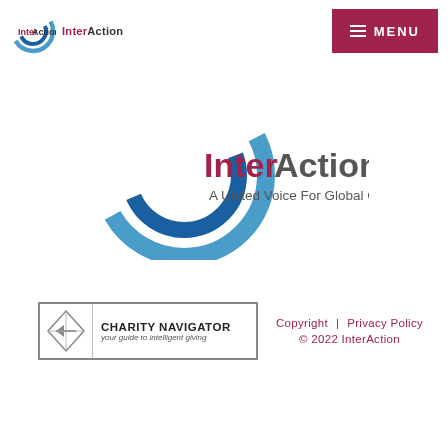[Figure (logo): InterAction logo (small) in page header — concentric blue/teal rings with InterAction text in dark red/maroon]
[Figure (logo): MENU navigation button — dark red/maroon rectangle with three white horizontal lines and MENU text in white]
[Figure (logo): InterAction main logo — large blue concentric rings with InterAction in dark red and tagline A United Voice For Global Change in gray]
[Figure (logo): Charity Navigator badge — bordered rectangle with compass-rose icon and text CHARITY NAVIGATOR your guide to intelligent giving]
Copyright  |  Privacy Policy
© 2022 InterAction